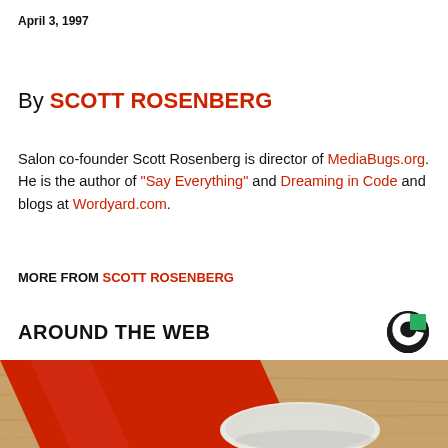April 3, 1997
By SCOTT ROSENBERG
Salon co-founder Scott Rosenberg is director of MediaBugs.org. He is the author of "Say Everything" and Dreaming in Code and blogs at Wordyard.com.
MORE FROM SCOTT ROSENBERG
AROUND THE WEB
[Figure (photo): Close-up photo of a red pencil eraser on a wooden surface, showing white eraser material at the tip.]